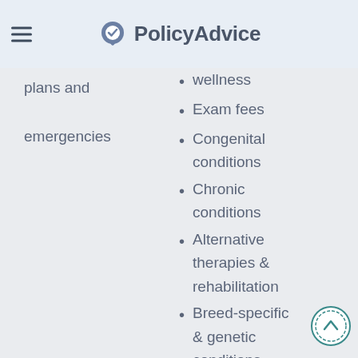PolicyAdvice
plans and emergencies
wellness
Exam fees
Congenital conditions
Chronic conditions
Alternative therapies & rehabilitation
Breed-specific & genetic conditions